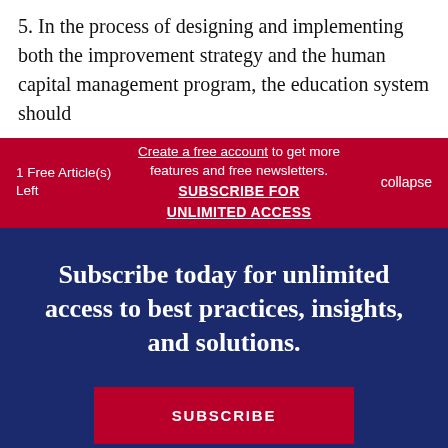5. In the process of designing and implementing both the improvement strategy and the human capital management program, the education system should
1 Free Article(s) Left
Create a free account to get more features and free newsletters. SUBSCRIBE FOR UNLIMITED ACCESS
collapse
Subscribe today for unlimited access to best practices, insights, and solutions.
SUBSCRIBE